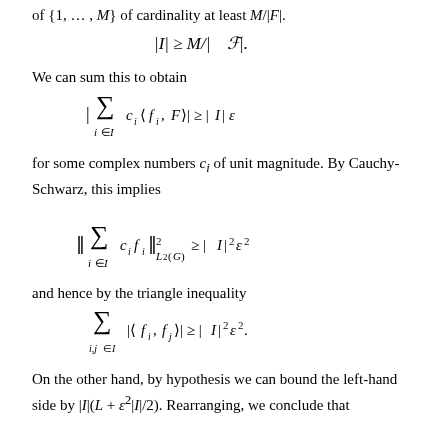of {1, …, M} of cardinality at least M/|F|.
We can sum this to obtain
for some complex numbers c_i of unit magnitude. By Cauchy-Schwarz, this implies
and hence by the triangle inequality
On the other hand, by hypothesis we can bound the left-hand side by |I|(L + ε²|I|/2). Rearranging, we conclude that